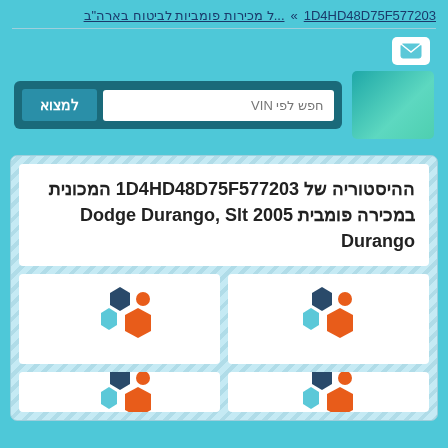1D4HD48D75F577203 » ...ל מכירות פומביות לביטוח בארה"ב
[Figure (screenshot): Search interface with logo, text input for VIN search, and find button]
ההיסטוריה של 1D4HD48D75F577203 המכונית במכירה פומבית 2005 Dodge Durango, Slt Durango
[Figure (logo): Hexagon cluster logo with orange, dark blue, and light blue hexagons]
[Figure (logo): Hexagon cluster logo with orange, dark blue, and light blue hexagons]
[Figure (logo): Partial hexagon cluster logo at bottom left]
[Figure (logo): Partial hexagon cluster logo at bottom right]